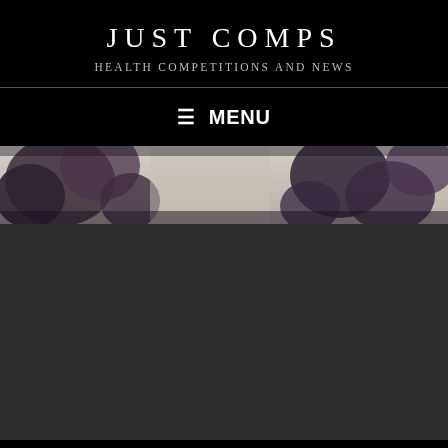JUST COMPS
HEALTH COMPETITIONS AND NEWS
≡ MENU
[Figure (photo): A blurred/faded photo strip showing dark floral or natural shapes with a light background, appearing at the top of a hero image area.]
[Figure (photo): Dark gray/charcoal rectangular content block below the hero photo strip.]
Health competitions and